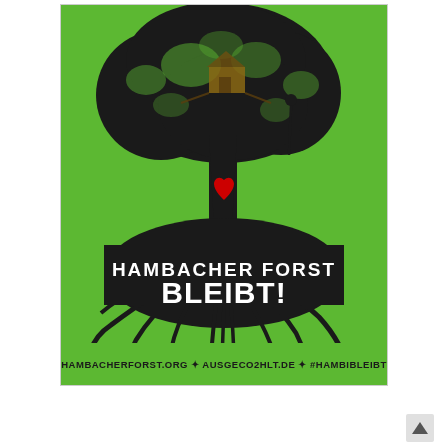[Figure (illustration): Green poster with a black illustrated tree with a treehouse, showing roots below ground. A red heart is at the center trunk. Text reads 'HAMBACHER FORST BLEIBT!' in white lettering on a dark root section. Bottom text: 'HAMBACHERFORST.ORG ✦ AUSGECO2HLT.DE ✦ #HAMBIBLEIBT']